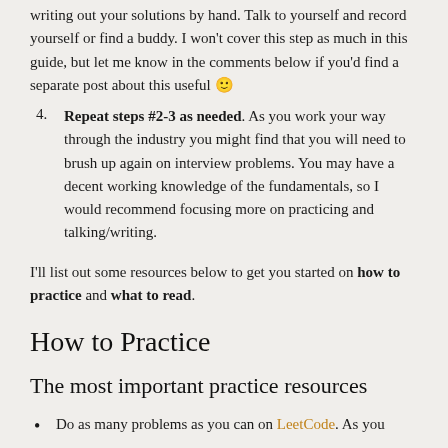writing out your solutions by hand. Talk to yourself and record yourself or find a buddy. I won't cover this step as much in this guide, but let me know in the comments below if you'd find a separate post about this useful 🙂
4. Repeat steps #2-3 as needed. As you work your way through the industry you might find that you will need to brush up again on interview problems. You may have a decent working knowledge of the fundamentals, so I would recommend focusing more on practicing and talking/writing.
I'll list out some resources below to get you started on how to practice and what to read.
How to Practice
The most important practice resources
Do as many problems as you can on LeetCode. As you